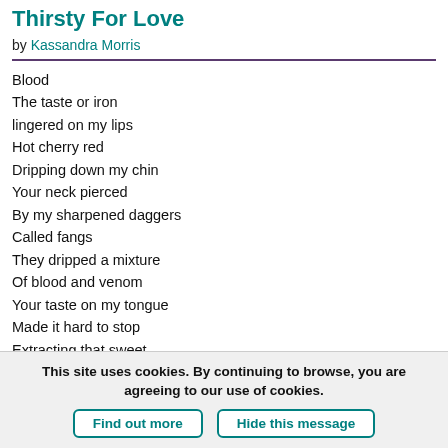Thirsty For Love
by Kassandra Morris
Blood

The taste or iron
lingered on my lips
Hot cherry red
Dripping down my chin
Your neck pierced
By my sharpened daggers
Called fangs
They dripped a mixture
Of blood and venom
Your taste on my tongue
Made it hard to stop
Extracting that sweet
This site uses cookies. By continuing to browse, you are agreeing to our use of cookies.